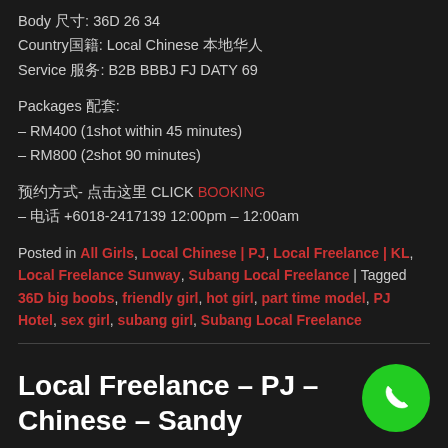Body 尺寸: 36D 26 34
Country国籍: Local Chinese 本地华人
Service 服务: B2B BBBJ FJ DATY 69
Packages 配套:
– RM400 (1shot within 45 minutes)
– RM800 (2shot 90 minutes)
预约方式- 点击这里 CLICK BOOKING – 电话 +6018-2417139 12:00pm – 12:00am
Posted in All Girls, Local Chinese | PJ, Local Freelance | KL, Local Freelance Sunway, Subang Local Freelance | Tagged 36D big boobs, friendly girl, hot girl, part time model, PJ Hotel, sex girl, subang girl, Subang Local Freelance
Local Freelance – PJ – Chinese – Sandy